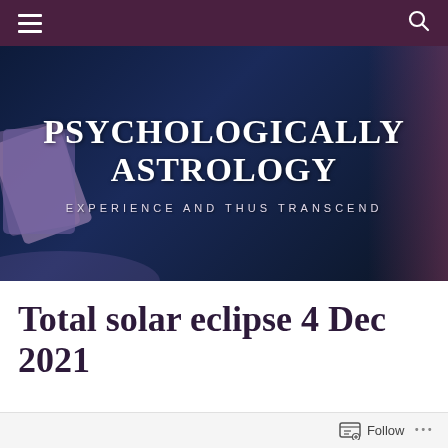Navigation bar with hamburger menu and search icon
[Figure (illustration): Website header banner for 'Psychologically Astrology' blog. Dark blue/navy background with tarot cards visible on the left side and a purple/pink glow on the right. Large bold white serif text reads 'PSYCHOLOGICALLY ASTROLOGY' with subtitle 'EXPERIENCE AND THUS TRANSCEND' in spaced small caps below.]
Total solar eclipse 4 Dec 2021
Follow ...